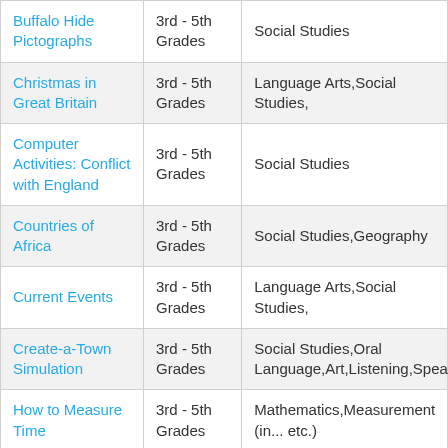| Title | Grade | Subject |
| --- | --- | --- |
| Buffalo Hide Pictographs | 3rd - 5th Grades | Social Studies |
| Christmas in Great Britain | 3rd - 5th Grades | Language Arts,Social Studies,... |
| Computer Activities: Conflict with England | 3rd - 5th Grades | Social Studies |
| Countries of Africa | 3rd - 5th Grades | Social Studies,Geography |
| Current Events | 3rd - 5th Grades | Language Arts,Social Studies,... |
| Create-a-Town Simulation | 3rd - 5th Grades | Social Studies,Oral Language,Art,Listening,Speaki... |
| How to Measure Time | 3rd - 5th Grades | Mathematics,Measurement (in... etc.) |
| Baseball Math | 3rd - 5th ... | Mathematics,Operations (+... |